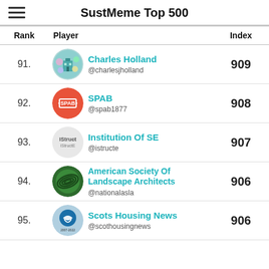SustMeme Top 500
| Rank | Player | Index |
| --- | --- | --- |
| 91. | Charles Holland @charlesjholland | 909 |
| 92. | SPAB @spab1877 | 908 |
| 93. | Institution Of SE @istructe | 907 |
| 94. | American Society Of Landscape Architects @nationalasla | 906 |
| 95. | Scots Housing News @scothousingnews | 906 |